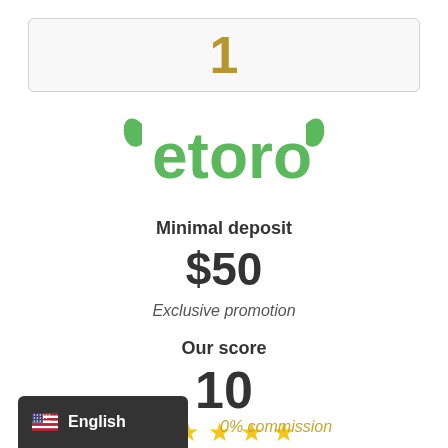1
[Figure (logo): eToro logo in green with bull horns]
Minimal deposit
$50
Exclusive promotion
Our score
10
[Figure (other): Five gold stars rating]
English
0% commission